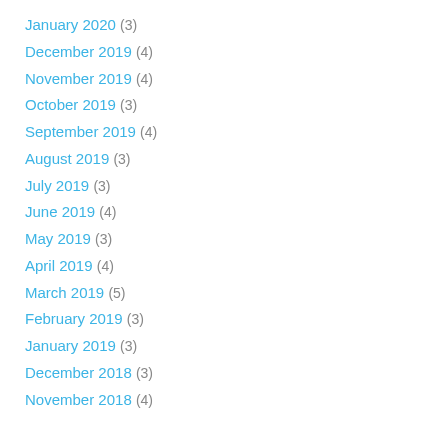January 2020 (3)
December 2019 (4)
November 2019 (4)
October 2019 (3)
September 2019 (4)
August 2019 (3)
July 2019 (3)
June 2019 (4)
May 2019 (3)
April 2019 (4)
March 2019 (5)
February 2019 (3)
January 2019 (3)
December 2018 (3)
November 2018 (4)